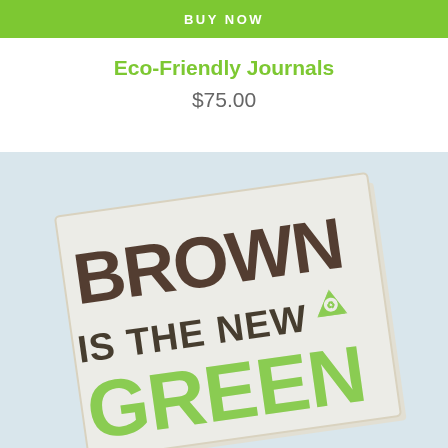BUY NOW
Eco-Friendly Journals
$75.00
[Figure (photo): Photo of an eco-friendly journal/notebook with text 'BROWN IS THE NEW GREEN' printed on its cover, along with a recycling symbol. The notebook appears to be made from recycled materials with a cream/off-white cover.]